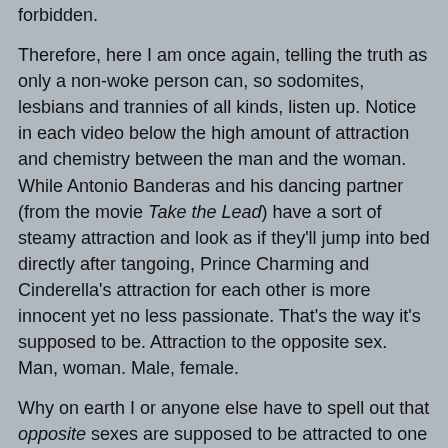forbidden.
Therefore, here I am once again, telling the truth as only a non-woke person can, so sodomites, lesbians and trannies of all kinds, listen up. Notice in each video below the high amount of attraction and chemistry between the man and the woman. While Antonio Banderas and his dancing partner (from the movie Take the Lead) have a sort of steamy attraction and look as if they'll jump into bed directly after tangoing, Prince Charming and Cinderella's attraction for each other is more innocent yet no less passionate. That's the way it's supposed to be. Attraction to the opposite sex. Man, woman. Male, female.
Why on earth I or anyone else have to spell out that opposite sexes are supposed to be attracted to one another boggles the mind. Therefore, do your part for world peace and to stop wars by doing what God intended you to do from the beginning when He made Adam and Eve. Stop sinning to stop wars.
[Figure (screenshot): Thumbnail of a video titled [HD] Antonio Band... with a circular avatar of a person and three-dot menu icon on a dark background.]